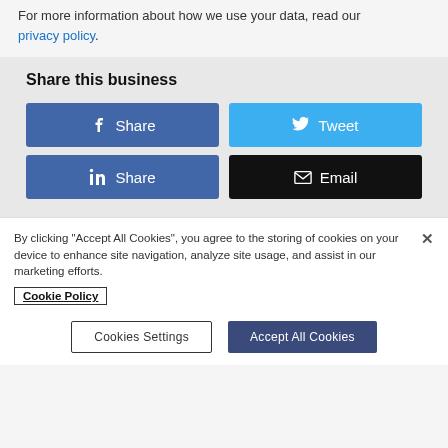For more information about how we use your data, read our privacy policy.
Share this business
[Figure (screenshot): Social sharing buttons: Facebook Share, Tweet, LinkedIn Share, Email]
By clicking "Accept All Cookies", you agree to the storing of cookies on your device to enhance site navigation, analyze site usage, and assist in our marketing efforts.
Cookie Policy
Cookies Settings | Accept All Cookies